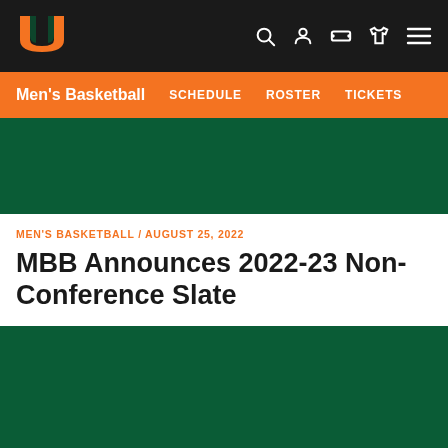University of Miami Men's Basketball — SCHEDULE | ROSTER | TICKETS
[Figure (photo): Dark green image placeholder (hero image top)]
MEN'S BASKETBALL / AUGUST 25, 2022
MBB Announces 2022-23 Non-Conference Slate
[Figure (photo): Dark green image placeholder (article image bottom)]